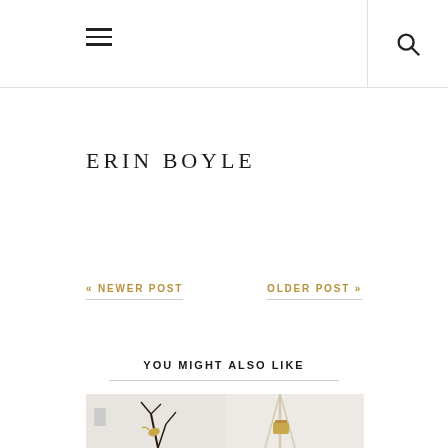ERIN BOYLE
« NEWER POST
OLDER POST »
YOU MIGHT ALSO LIKE
[Figure (photo): Two lifestyle photos side by side: left shows dark dried branches with golden bird ornament against white wall; right shows a hanging rope/macramé with a small golden cup/container against white wall.]